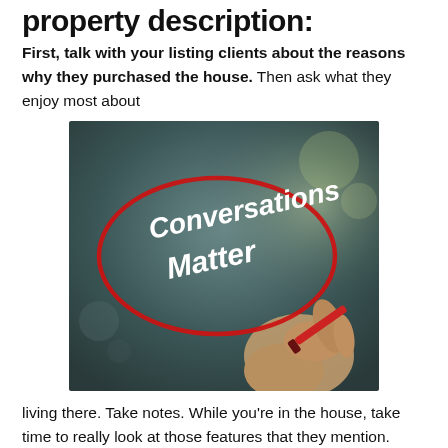property description:
First, talk with your listing clients about the reasons why they purchased the house. Then ask what they enjoy most about
[Figure (photo): Photo of a hand writing 'Conversations Matter' on a glass surface with a red marker, with a red ellipse circled around the text. Blurred background.]
living there. Take notes. While you're in the house, take time to really look at those features that they mention.